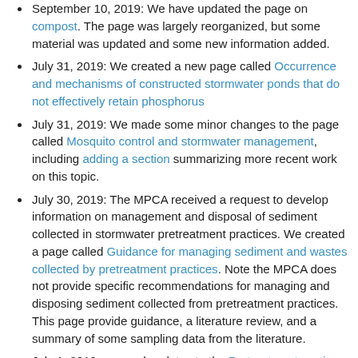September 10, 2019: We have updated the page on compost. The page was largely reorganized, but some material was updated and some new information added.
July 31, 2019: We created a new page called Occurrence and mechanisms of constructed stormwater ponds that do not effectively retain phosphorus
July 31, 2019: We made some minor changes to the page called Mosquito control and stormwater management, including adding a section summarizing more recent work on this topic.
July 30, 2019: The MPCA received a request to develop information on management and disposal of sediment collected in stormwater pretreatment practices. We created a page called Guidance for managing sediment and wastes collected by pretreatment practices. Note the MPCA does not provide specific recommendations for managing and disposing sediment collected from pretreatment practices. This page provide guidance, a literature review, and a summary of some sampling data from the literature.
July 1, 2019 - several updates to the Pretreatment section of the manual
Pretreatment selection tool
Pretreatment - Hydrodynamic separation devices